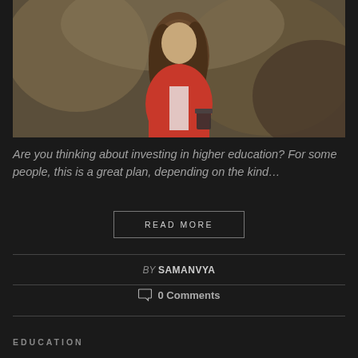[Figure (photo): Young woman with long hair wearing a red jacket, outdoors in a park-like setting, holding a coffee cup, blurred background]
Are you thinking about investing in higher education? For some people, this is a great plan, depending on the kind…
READ MORE
BY SAMANVYA
0 Comments
EDUCATION